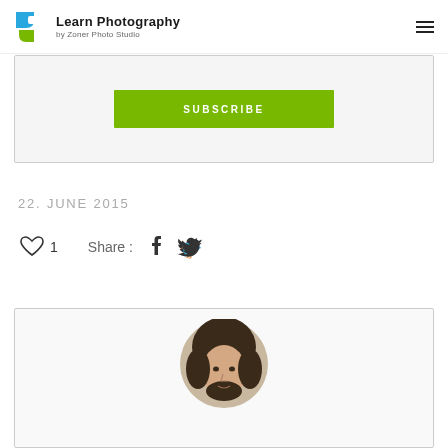Learn Photography by Zoner Photo Studio
[Figure (other): Green SUBSCRIBE button inside a light grey bordered box]
22. JUNE 2015
[Figure (other): Social sharing row: heart icon with count 1, Share label, Facebook icon, Twitter icon]
[Figure (photo): Author profile photo card - circular portrait of a person with dark hair]